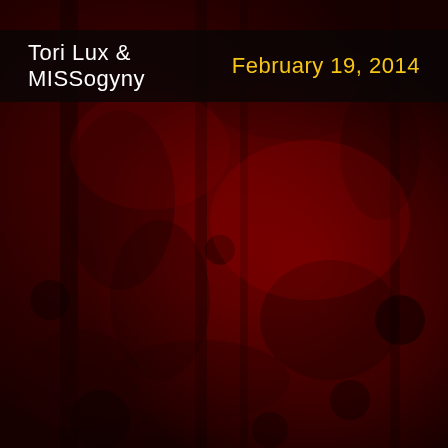[Figure (photo): Dark crimson red textured background resembling rough stone or bark with deep shadows and mottled dark red and black patterns throughout the entire page.]
Tori Lux & MISSogyny    February 19, 2014